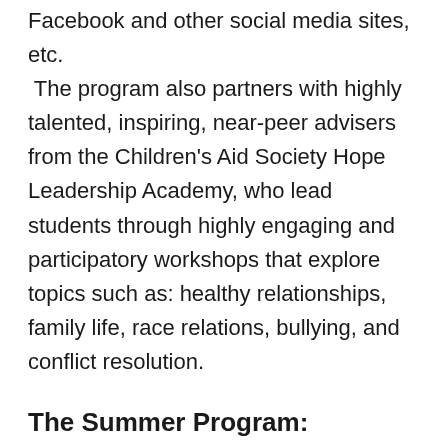Facebook and other social media sites, etc. The program also partners with highly talented, inspiring, near-peer advisers from the Children's Aid Society Hope Leadership Academy, who lead students through highly engaging and participatory workshops that explore topics such as: healthy relationships, family life, race relations, bullying, and conflict resolution.
The Summer Program:
In addition to the Saturday program, Metro Center runs a four-week, intensive Summer program (Monday-Friday), which is devoted to career exploration, more intensive college preparation, and work experience through